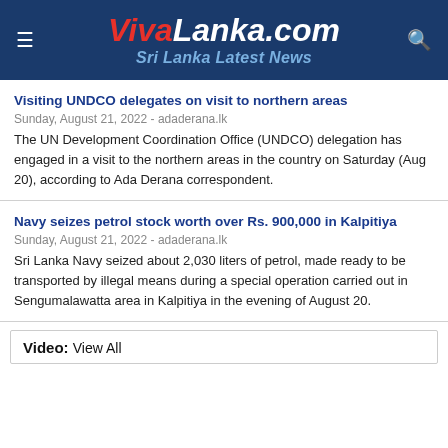VivaLanka.com
Sri Lanka Latest News
Visiting UNDCO delegates on visit to northern areas
Sunday, August 21, 2022 - adaderana.lk
The UN Development Coordination Office (UNDCO) delegation has engaged in a visit to the northern areas in the country on Saturday (Aug 20), according to Ada Derana correspondent.
Navy seizes petrol stock worth over Rs. 900,000 in Kalpitiya
Sunday, August 21, 2022 - adaderana.lk
Sri Lanka Navy seized about 2,030 liters of petrol, made ready to be transported by illegal means during a special operation carried out in Sengumalawatta area in Kalpitiya in the evening of August 20.
Video: View All